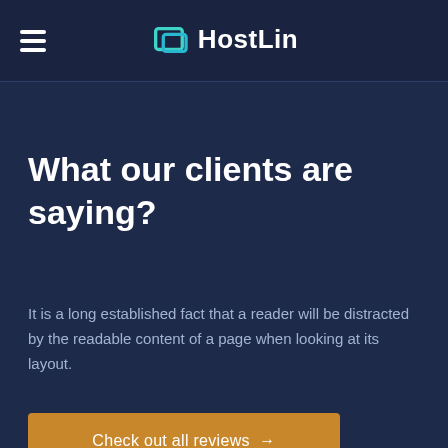HostLin
What our clients are saying?
It is a long established fact that a reader will be distracted by the readable content of a page when looking at its layout.
Check out all reviews →
[Figure (photo): Circular avatar photo of a woman with braided hair wearing a red top, looking to the side]